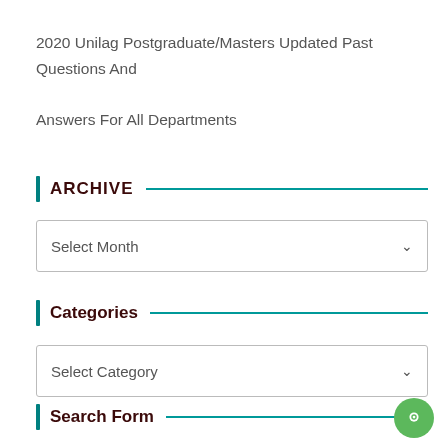2020 Unilag Postgraduate/Masters Updated Past Questions And Answers For All Departments
ARCHIVE
[Figure (other): Select Month dropdown box]
Categories
[Figure (other): Select Category dropdown box]
Search Form